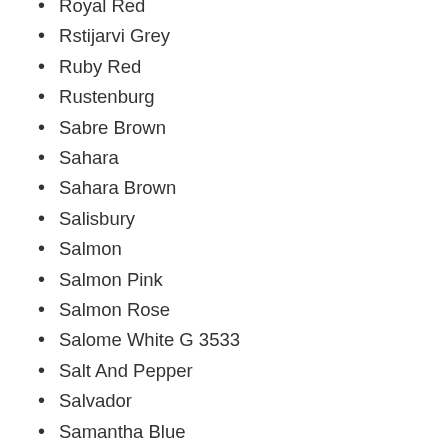Royal Red
Rstijarvi Grey
Ruby Red
Rustenburg
Sabre Brown
Sahara
Sahara Brown
Salisbury
Salmon
Salmon Pink
Salmon Rose
Salome White G 3533
Salt And Pepper
Salvador
Samantha Blue
Samoa
Samoa Light – Arabesesco
Samoa Light Mg7
Sample Slabs